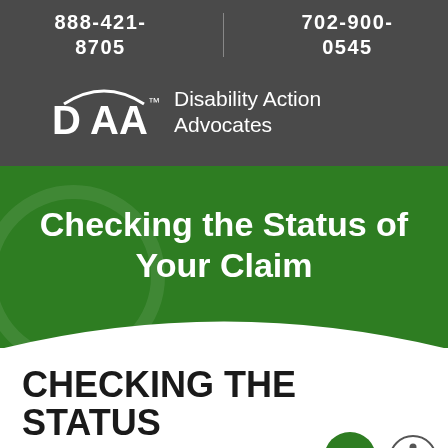888-421-8705 | 702-900-0545
[Figure (logo): DAA Disability Action Advocates logo with stylized DAA letters and trademark symbol]
Checking the Status of Your Claim
CHECKING THE STATUS OF YOUR SOCIAL CLAIM